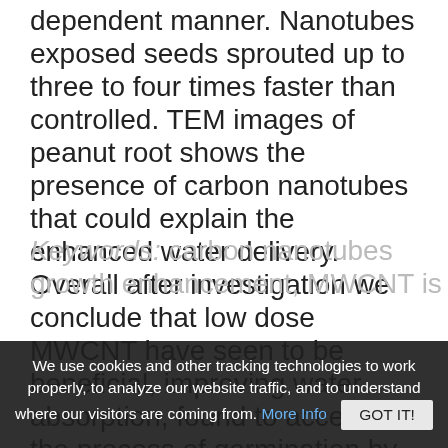dependent manner. Nanotubes exposed seeds sprouted up to three to four times faster than controlled. TEM images of peanut root shows the presence of carbon nanotubes that could explain the enhanced water delivery. Overall after investigation we conclude that low dose MWCNT have seen to be beneficial, improving water absorption, found to accelerate the process of germination by shortening the germination time and higher biomass production.
Keywords: carbon nanotubes growth enhancement, MWCNT is
We use cookies and other tracking technologies to work properly, to analyze our website traffic, and to understand where our visitors are coming from. More Info GOT IT!